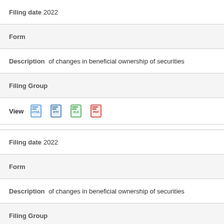Filing date 2022
Form
Description of changes in beneficial ownership of securities
Filing Group
[Figure (other): View icons for HTML, RTF, XLS, PDF document formats]
Filing date 2022
Form
Description of changes in beneficial ownership of securities
Filing Group